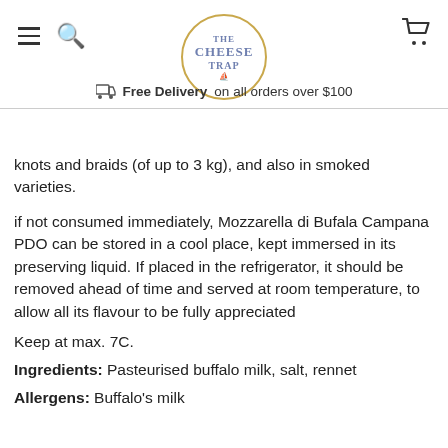The Cheese Trap [logo] | Free Delivery on all orders over $100
knots and braids (of up to 3 kg), and also in smoked varieties.
if not consumed immediately, Mozzarella di Bufala Campana PDO can be stored in a cool place, kept immersed in its preserving liquid. If placed in the refrigerator, it should be removed ahead of time and served at room temperature, to allow all its flavour to be fully appreciated
Keep at max. 7C.
Ingredients: Pasteurised buffalo milk, salt, rennet
Allergens: Buffalo's milk